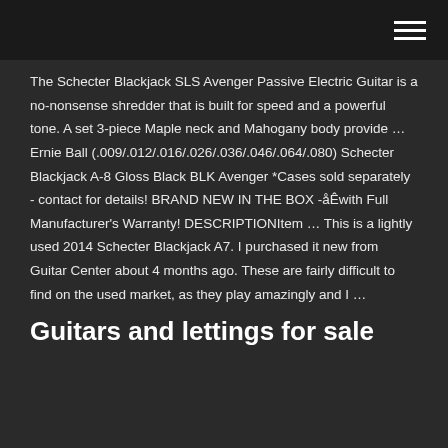The Schecter Blackjack SLS Avenger Passive Electric Guitar is a no-nonsense shredder that is built for speed and a powerful tone. A set 3-piece Maple neck and Mahogany body provide … Ernie Ball (.009/.012/.016/.026/.036/.046/.064/.080) Schecter Blackjack A-8 Gloss Black BLK Avenger *Cases sold separately - contact for details! BRAND NEW IN THE BOX -åÊwith Full Manufacturer's Warranty! DESCRIPTIONItem … This is a lightly used 2014 Schecter Blackjack A7. I purchased it new from Guitar Center about 4 months ago. These are fairly difficult to find on the used market, as they play amazingly and I …
Guitars and lettings for sale